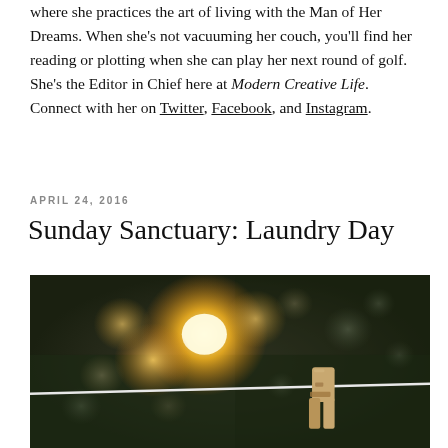where she practices the art of living with the Man of Her Dreams. When she's not vacuuming her couch, you'll find her reading or plotting when she can play her next round of golf. She's the Editor in Chief here at Modern Creative Life. Connect with her on Twitter, Facebook, and Instagram.
APRIL 24, 2016
Sunday Sanctuary: Laundry Day
[Figure (photo): Outdoor photo with blurred bokeh background showing golden light circles on dark green foliage, a white clothesline wire in the foreground with a wooden clothespin clipped to it.]